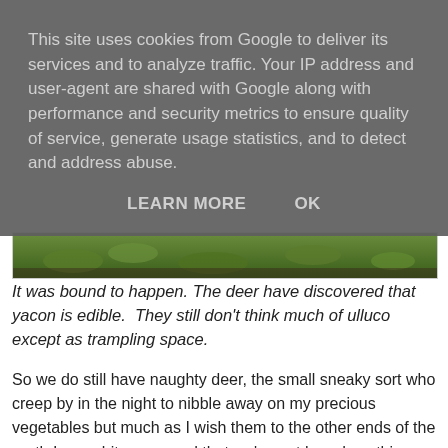This site uses cookies from Google to deliver its services and to analyze traffic. Your IP address and user-agent are shared with Google along with performance and security metrics to ensure quality of service, generate usage statistics, and to detect and address abuse.
LEARN MORE    OK
[Figure (photo): Partial view of green plants/garden crop, visible at bottom of cookie overlay]
It was bound to happen. The deer have discovered that yacon is edible.  They still don't think much of ulluco except as trampling space.
So we do still have naughty deer, the small sneaky sort who creep by in the night to nibble away on my precious vegetables but much as I wish them to the other ends of the earth I am a bit concerned that we've not heard anything from the Red deer so far this year. Usually by now they are preparing for the rut by bellowing out challenges and securing territory for the does but there's been nothing so far. Strange and a little worrying because the hunters are already on the job.